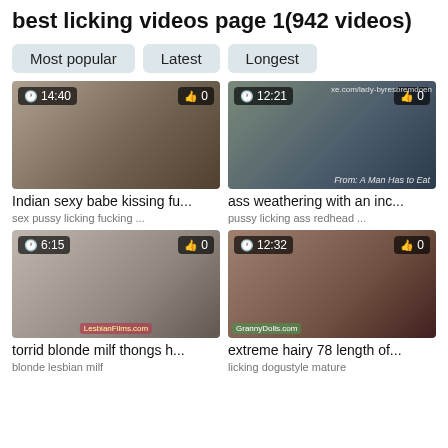best licking videos page 1(942 videos)
Most popular
Latest
Longest
[Figure (screenshot): Video thumbnail 1, duration 14:40, 0 likes, Indian sexy babe kissing fu...]
Indian sexy babe kissing fu...
sex  pussy  licking  fucking ...
[Figure (screenshot): Video thumbnail 2, duration 12:21, 0 likes, ass weathering with an inc...]
ass weathering with an inc...
pussy  licking  ass  redhead ...
[Figure (screenshot): Video thumbnail 3, duration 6:15, 0 likes, torrid blonde milf thongs h...]
torrid blonde milf thongs h...
blonde  lesbian  milf
[Figure (screenshot): Video thumbnail 4, duration 12:32, 0 likes, extreme hairy 78 length of...]
extreme hairy 78 length of...
licking  dogustyle  mature